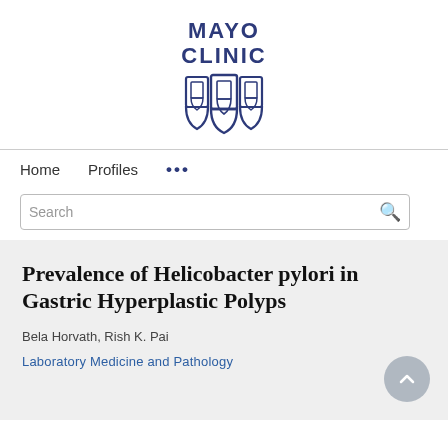[Figure (logo): Mayo Clinic logo with shield emblems and text reading MAYO CLINIC in bold blue letters]
Home   Profiles   ...
Search
Prevalence of Helicobacter pylori in Gastric Hyperplastic Polyps
Bela Horvath, Rish K. Pai
Laboratory Medicine and Pathology